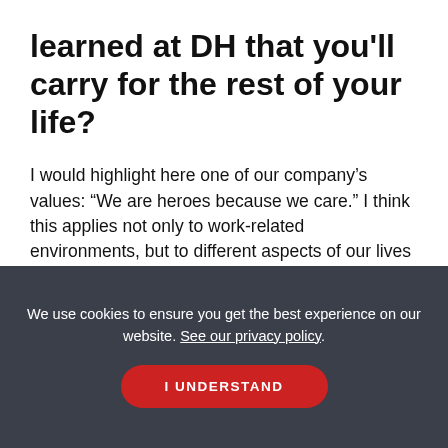learned at DH that you'll carry for the rest of your life?
I would highlight here one of our company's values: “We are heroes because we care.” I think this applies not only to work-related environments, but to different aspects of our lives too.
What advice would you give to
We use cookies to ensure you get the best experience on our website. See our privacy policy.
I UNDERSTAND